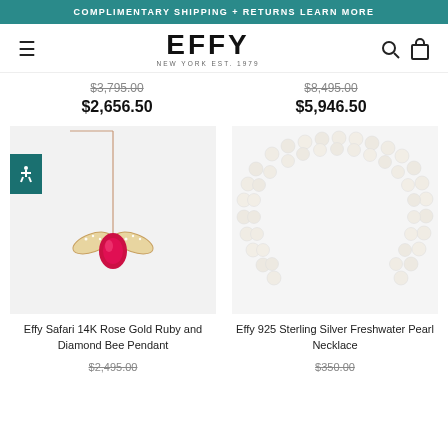COMPLIMENTARY SHIPPING + RETURNS LEARN MORE
[Figure (logo): EFFY logo with tagline NEW YORK EST. 1979]
$3,795.00 (strikethrough)
$2,656.50
$8,495.00 (strikethrough)
$5,946.50
[Figure (photo): Effy Safari 14K Rose Gold Ruby and Diamond Bee Pendant on a delicate chain, featuring a ruby gemstone with diamond wings]
[Figure (photo): Effy 925 Sterling Silver Freshwater Pearl Necklace, showing a multi-strand pearl necklace arranged in a horseshoe shape]
Effy Safari 14K Rose Gold Ruby and Diamond Bee Pendant
Effy 925 Sterling Silver Freshwater Pearl Necklace
$2,495.00 (strikethrough)
$350.00 (strikethrough)